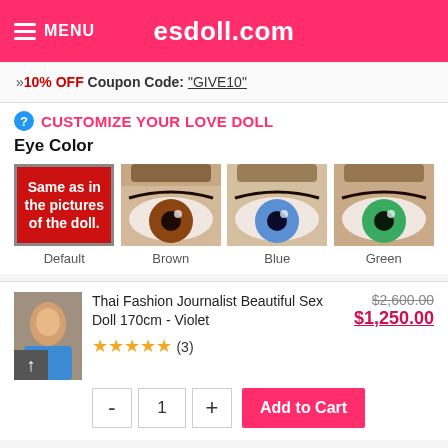MENU | esdoll.com
»10% OFF Coupon Code: "GIVE10"
CUSTOMIZE YOUR LOVE DOLL
Eye Color
[Figure (photo): Four eye color options: Default (same as in the pictures of the doll - red box), Brown eye, Blue eye, Green eye]
Thai Fashion Journalist Beautiful Sex Doll 170cm - Violet
★★★★★ (3)
$2,600.00 $1,250.00